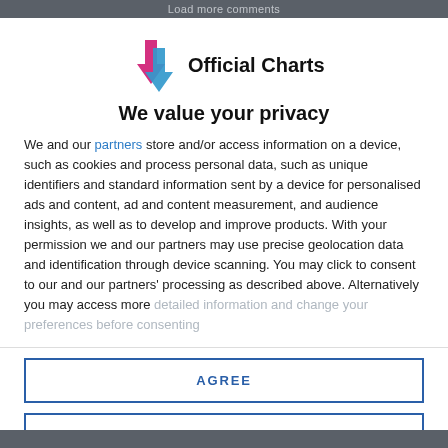Load more comments
[Figure (logo): Official Charts logo with pink upward arrow and blue downward arrow icons, followed by bold text 'Official Charts']
We value your privacy
We and our partners store and/or access information on a device, such as cookies and process personal data, such as unique identifiers and standard information sent by a device for personalised ads and content, ad and content measurement, and audience insights, as well as to develop and improve products. With your permission we and our partners may use precise geolocation data and identification through device scanning. You may click to consent to our and our partners' processing as described above. Alternatively you may access more detailed information and change your preferences before consenting
AGREE
MORE OPTIONS